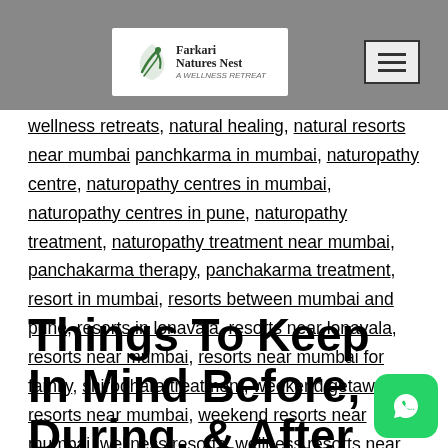[Figure (logo): Farkari Natures Nest wellness retreat logo with stylized bird/leaf icon]
healthcare centre, Luxurious wellness retreat, luxury wellness resort, wellness retreats, natural healing, natural resorts near mumbai panchkarma in mumbai, naturopathy centre, naturopathy centres in mumbai, naturopathy centres in pune, naturopathy treatment, naturopathy treatment near mumbai, panchakarma therapy, panchakarma treatment, resort in mumbai, resorts between mumbai and pune, resorts in lonavala, resorts near lonavala, resorts near mumbai, resorts near mumbai for family, shirodhara treatment, weekend getaway resorts near mumbai, weekend resorts near mumbai, wellness resorts, wellness resorts near mumbai, wellness retreats, yoga and meditation, yoga retreat
Things To Keep In Mind Before, During, & After